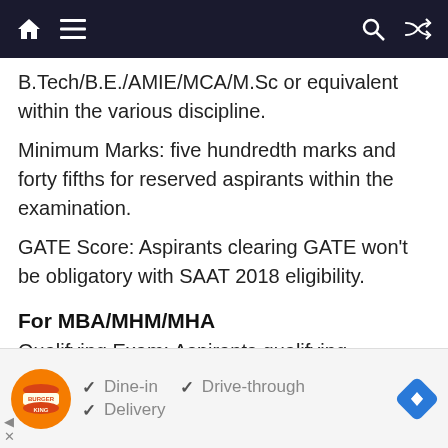Navigation bar with home, menu, search, and shuffle icons
B.Tech/B.E./AMIE/MCA/M.Sc or equivalent within the various discipline.
Minimum Marks: five hundredth marks and forty fifths for reserved aspirants within the examination.
GATE Score: Aspirants clearing GATE won't be obligatory with SAAT 2018 eligibility.
For MBA/MHM/MHA
Qualifying Exam: Aspirants qualifying bachelor's degree from an acknowledged university establishment are eligible.
[Figure (other): Burger King advertisement banner showing Dine-in, Drive-through, and Delivery options with checkmarks]